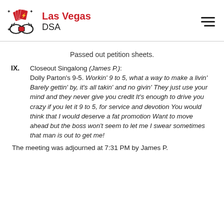Las Vegas DSA
Passed out petition sheets.
IX. Closeout Singalong (James P.): Dolly Parton's 9-5. Workin' 9 to 5, what a way to make a livin' Barely gettin' by, it's all takin' and no givin' They just use your mind and they never give you credit It's enough to drive you crazy if you let it 9 to 5, for service and devotion You would think that I would deserve a fat promotion Want to move ahead but the boss won't seem to let me I swear sometimes that man is out to get me!
The meeting was adjourned at 7:31 PM by James P.